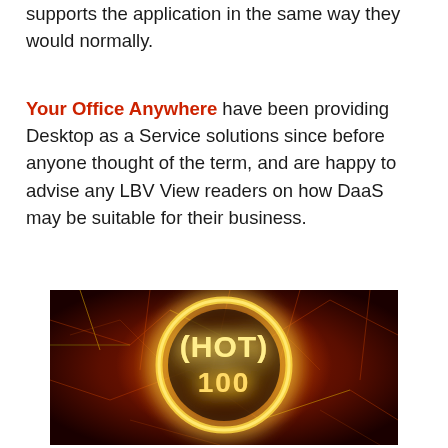supports the application in the same way they would normally.
Your Office Anywhere have been providing Desktop as a Service solutions since before anyone thought of the term, and are happy to advise any LBV View readers on how DaaS may be suitable for their business.
[Figure (photo): A glowing 'HOT 100' logo in gold/yellow light with a circular ring around it, set against a dark red cracked lava-like textured background.]